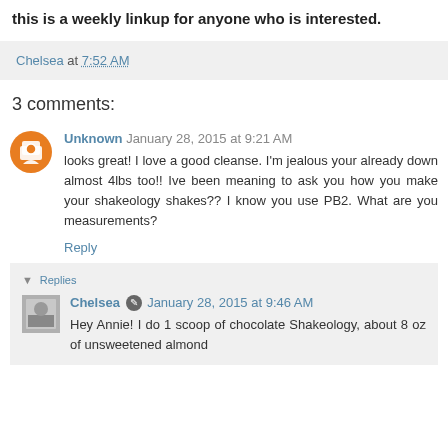this is a weekly linkup for anyone who is interested.
Chelsea at 7:52 AM
3 comments:
Unknown January 28, 2015 at 9:21 AM
looks great! I love a good cleanse. I'm jealous your already down almost 4lbs too!! Ive been meaning to ask you how you make your shakeology shakes?? I know you use PB2. What are you measurements?
Reply
▼ Replies
Chelsea January 28, 2015 at 9:46 AM
Hey Annie! I do 1 scoop of chocolate Shakeology, about 8 oz of unsweetened almond